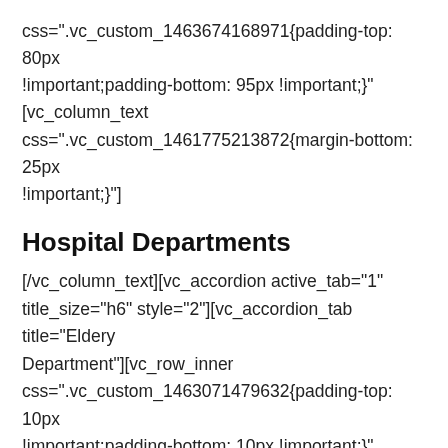css=".vc_custom_1463674168971{padding-top: 80px !important;padding-bottom: 95px !important;}" [vc_column_text css=".vc_custom_1461775213872{margin-bottom: 25px !important;}"]
Hospital Departments
[/vc_column_text][vc_accordion active_tab="1" title_size="h6" style="2"][vc_accordion_tab title="Eldery Department"][vc_row_inner css=".vc_custom_1463071479632{padding-top: 10px !important;padding-bottom: 10px !important;}"] [vc_column_inner width="1/4" offset="vc_col-lg-3 vc_col-md-3 vc_col-xs-4" css=".vc_custom_1463071010461{padding-right: 0px !important;}"][vc_single_image image="268" img_size="180×180"][/vc_column_inner] [vc_column_inner width="3/4" offset="vc_col-lg-9